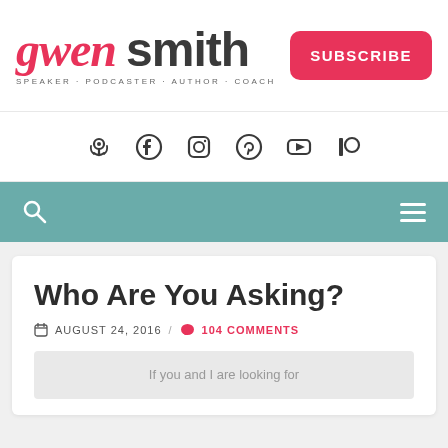[Figure (logo): Gwen Smith logo with script 'gwen' in pink and bold 'smith' in dark gray, tagline: SPEAKER · PODCASTER · AUTHOR · COACH]
[Figure (illustration): Pink rounded rectangle SUBSCRIBE button]
[Figure (infographic): Social media icons row: podcast, facebook, instagram, pinterest, youtube, patreon]
[Figure (infographic): Teal navigation bar with search icon on left and hamburger menu on right]
Who Are You Asking?
AUGUST 24, 2016 / 104 COMMENTS
If you and I are looking for